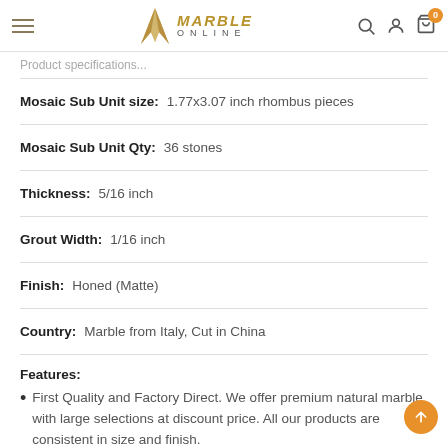Marble Online
Mosaic Sub Unit size: 1.77x3.07 inch rhombus pieces
Mosaic Sub Unit Qty: 36 stones
Thickness: 5/16 inch
Grout Width: 1/16 inch
Finish: Honed (Matte)
Country: Marble from Italy, Cut in China
Features:
First Quality and Factory Direct. We offer premium natural marble with large selections at discount price. All our products are consistent in size and finish.